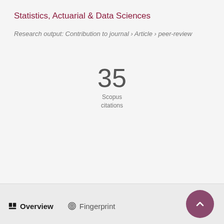Statistics, Actuarial & Data Sciences
Research output: Contribution to journal › Article › peer-review
35
Scopus
citations
Overview
Fingerprint